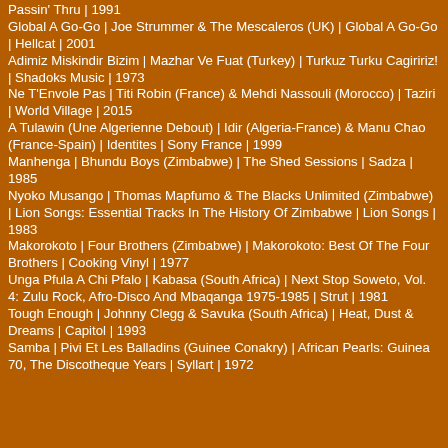Passin' Thru | 1991
Global A Go-Go | Joe Strummer & The Mescaleros (UK) | Global A Go-Go | Hellcat | 2001
Adimiz Miskindir Bizim | Mazhar Ve Fuat (Turkey) | Turkuz Turku Cagiririz! | Shadoks Music | 1973
Ne T'Envole Pas | Titi Robin (France) & Mehdi Nassouli (Morocco) | Taziri | World Village | 2015
A Tulawin (Une Algerienne Debout) | Idir (Algeria-France) & Manu Chao (France-Spain) | Identites | Sony France | 1999
Manhenga | Bhundu Boys (Zimbabwe) | The Shed Sessions | Sadza | 1985
Nyoko Musango | Thomas Mapfumo & The Blacks Unlimited (Zimbabwe) | Lion Songs: Essential Tracks In The History Of Zimbabwe | Lion Songs | 1983
Makorokoto | Four Brothers (Zimbabwe) | Makorokoto: Best Of The Four Brothers | Cooking Vinyl | 1977
Unga Pfula A Chi Pfalo | Kabasa (South Africa) | Next Stop Soweto, Vol. 4: Zulu Rock, Afro-Disco And Mbaqanga 1975-1985 | Strut | 1981
Tough Enough | Johnny Clegg & Savuka (South Africa) | Heat, Dust & Dreams | Capitol | 1993
Samba | Pivi Et Les Balladins (Guinee Conakry) | African Pearls: Guinea 70, The Discotheque Years | Syllart | 1972